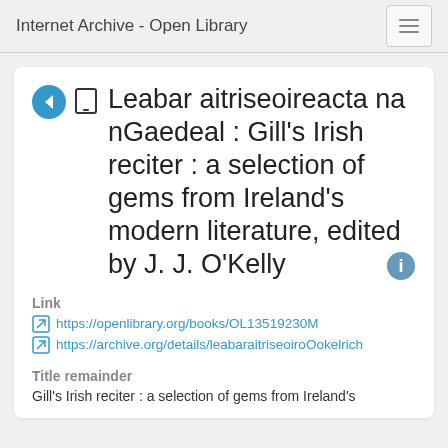Internet Archive - Open Library
Leabar aitriseoireacta na nGaedeal : Gill's Irish reciter : a selection of gems from Ireland's modern literature, edited by J. J. O'Kelly
Link
https://openlibrary.org/books/OL13519230M
https://archive.org/details/leabaraitriseoiroOokelrich
Title remainder
Gill's Irish reciter : a selection of gems from Ireland's